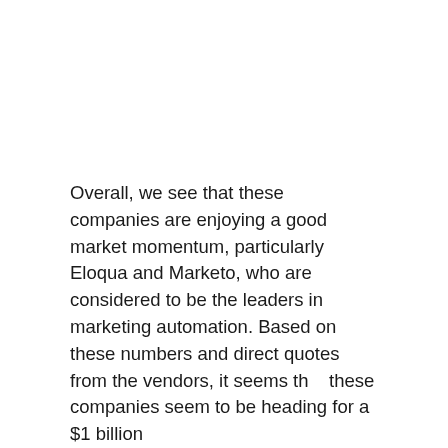Overall, we see that these companies are enjoying a good market momentum, particularly Eloqua and Marketo, who are considered to be the leaders in marketing automation. Based on these numbers and direct quotes from the vendors, it seems that these companies seem to be heading for a $1 billion